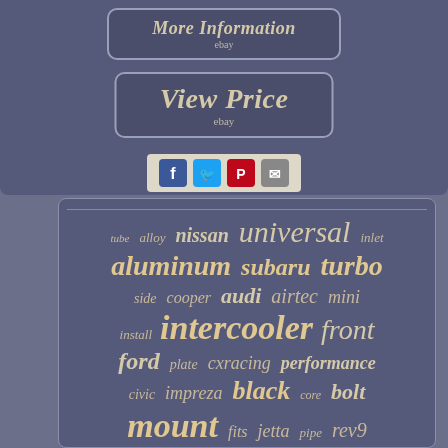[Figure (screenshot): eBay 'More Information' button with italic bold text and ebay subtext]
[Figure (screenshot): eBay 'View Price' button with italic bold large text and ebay subtext]
[Figure (infographic): Social sharing icons: Facebook (blue), Twitter (light blue), Pinterest (red), Email (grey) on a beige background strip]
[Figure (infographic): Tag cloud with automotive intercooler keywords: tube, alloy, nissan, universal, inlet, aluminum, subaru, turbo, side, cooper, audi, airtec, mini, install, intercooler, front, ford, plate, cxracing, performance, civic, impreza, black, core, bolt, mount, fits, jetta, pipe, rev9]